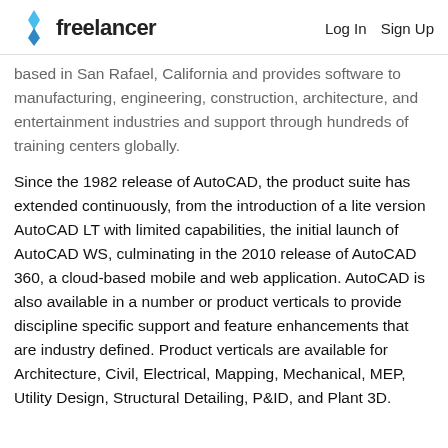freelancer  Log In  Sign Up
based in San Rafael, California and provides software to manufacturing, engineering, construction, architecture, and entertainment industries and support through hundreds of training centers globally.
Since the 1982 release of AutoCAD, the product suite has extended continuously, from the introduction of a lite version AutoCAD LT with limited capabilities, the initial launch of AutoCAD WS, culminating in the 2010 release of AutoCAD 360, a cloud-based mobile and web application. AutoCAD is also available in a number or product verticals to provide discipline specific support and feature enhancements that are industry defined. Product verticals are available for Architecture, Civil, Electrical, Mapping, Mechanical, MEP, Utility Design, Structural Detailing, P&ID, and Plant 3D.